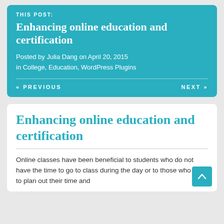THIS POST:
Enhancing online education and certification
Posted by Julia Dang on April 20, 2015 in College, Education, WordPress Plugins
« PREVIOUS   NEXT »
Enhancing online education and certification
Online classes have been beneficial to students who do not have the time to go to class during the day or to those who like to plan out their time and